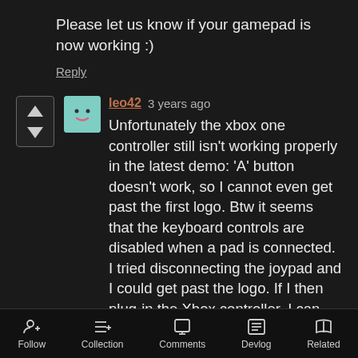Please let us know if your gamepad is now working :)
Reply
leo42  3 years ago
Unfortunately the xbox one controller still isn't working properly in the latest demo: 'A' button doesn't work, so I cannot even get past the first logo. Btw it seems that the keyboard controls are disabled when a pad is connected. I tried disconnecting the joypad and I could get past the logo. If I then plug-in the Xbox controller, I can see that only a few buttons seem to do something: moving the left stick to the right makes the player go down. And that's it. Other keys don't seem to work properly.
Follow  Collection  Comments  Devlog  Related